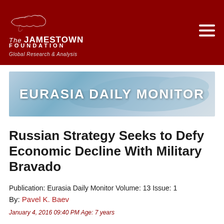The Jamestown Foundation — Global Research & Analysis
[Figure (logo): The Jamestown Foundation logo with world map silhouette, red background, 'Global Research & Analysis' subtitle]
[Figure (illustration): Eurasia Daily Monitor banner with blue map background]
Russian Strategy Seeks to Defy Economic Decline With Military Bravado
Publication: Eurasia Daily Monitor Volume: 13 Issue: 1
By: Pavel K. Baev
January 4, 2016 09:40 PM Age: 7 years